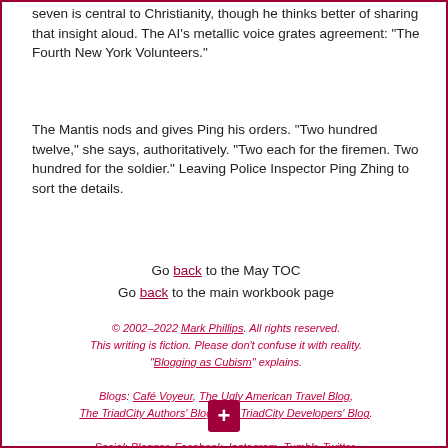seven is central to Christianity, though he thinks better of sharing that insight aloud. The AI's metallic voice grates agreement: "The Fourth New York Volunteers."
The Mantis nods and gives Ping his orders. "Two hundred twelve," she says, authoritatively. "Two each for the firemen. Two hundred for the soldier." Leaving Police Inspector Ping Zhing to sort the details.
Go back to the May TOC
Go back to the main workbook page
© 2002–2022 Mark Phillips. All rights reserved. This writing is fiction. Please don't confuse it with reality. "Blogging as Cubism" explains.
Blogs: Café Voyeur, The Ugly American Travel Blog, The TriadCity Authors' Blog, The TriadCity Developers' Blog.
Social: Blogger, Facebook, Instagram, Tumblr, Twitter.
Best displayed on laptops. Mobile RSN.